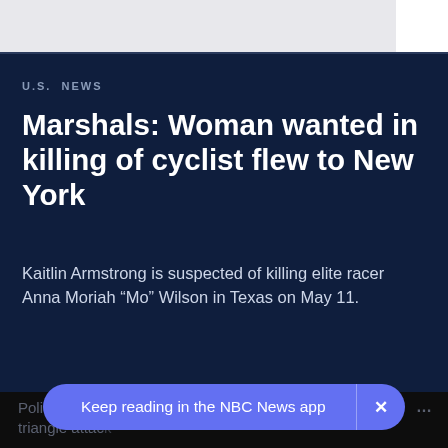U.S. NEWS
Marshals: Woman wanted in killing of cyclist flew to New York
Kaitlin Armstrong is suspected of killing elite racer Anna Moriah “Mo” Wilson in Texas on May 11.
Police search for Kaitlin Armstrong in alleged love triangle attack
Keep reading in the NBC News app